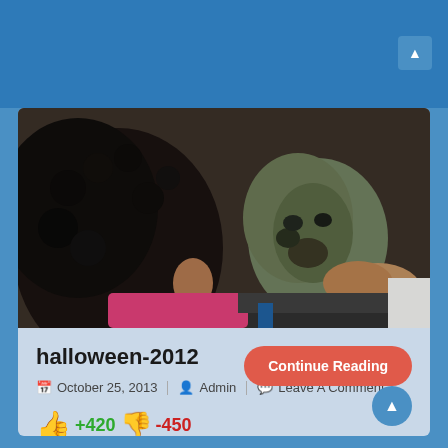[Figure (photo): A person with green Halloween face paint being applied or showing their face paint, another person writing or touching their face, pink clothing visible, bracelet on wrist]
halloween-2012
October 25, 2013  Admin  Leave A Comment
+420  -450
Continue Reading